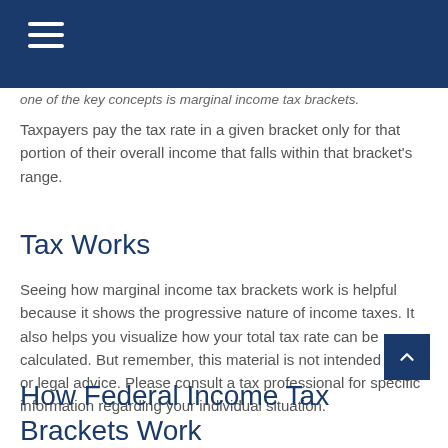(hamburger menu icon)
one of the key concepts is marginal income tax brackets.
Taxpayers pay the tax rate in a given bracket only for that portion of their overall income that falls within that bracket's range.
Tax Works
Seeing how marginal income tax brackets work is helpful because it shows the progressive nature of income taxes. It also helps you visualize how your total tax rate can be calculated. But remember, this material is not intended as tax or legal advice. Please consult a tax professional for specific information regarding your individual situation.
How Federal Income Tax Brackets Work